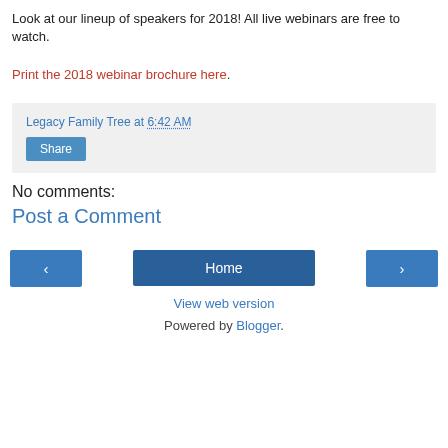Look at our lineup of speakers for 2018! All live webinars are free to watch.
Print the 2018 webinar brochure here.
Legacy Family Tree at 6:42 AM
Share
No comments:
Post a Comment
‹  Home  ›
View web version
Powered by Blogger.